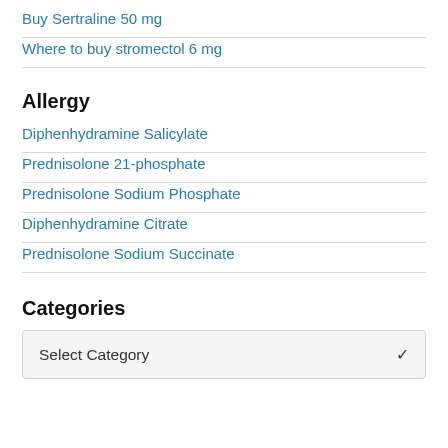Buy Sertraline 50 mg
Where to buy stromectol 6 mg
Allergy
Diphenhydramine Salicylate
Prednisolone 21-phosphate
Prednisolone Sodium Phosphate
Diphenhydramine Citrate
Prednisolone Sodium Succinate
Categories
Select Category